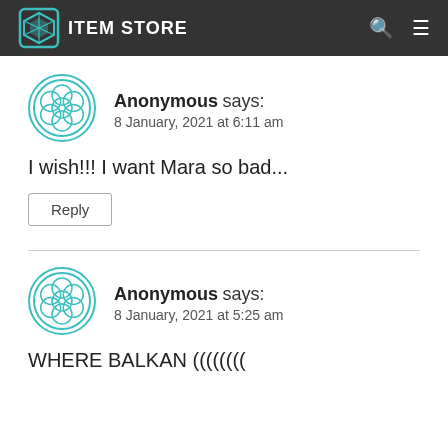ITEM STORE
Anonymous says:
8 January, 2021 at 6:11 am
I wish!!! I want Mara so bad...
Reply
Anonymous says:
8 January, 2021 at 5:25 am
WHERE BALKAN ((((((((